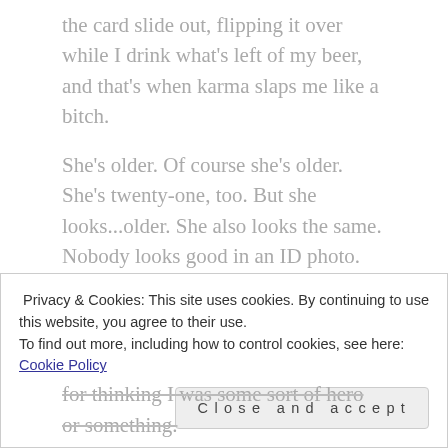the card slide out, flipping it over while I drink what's left of my beer, and that's when karma slaps me like a bitch.
She's older. Of course she's older. She's twenty-one, too. But she looks...older. She also looks the same. Nobody looks good in an ID photo. Emma Burke looks like a dream. Her brown hair is just as I remember it, long waves around her bright pink cheeks, lips that stretch into this sensuous smile. I don't know if it's sensuous to anyone else, but to me, it sure as fuck is.
Privacy & Cookies: This site uses cookies. By continuing to use this website, you agree to their use.
To find out more, including how to control cookies, see here: Cookie Policy
Close and accept
for thinking I was some sort of hero or something.